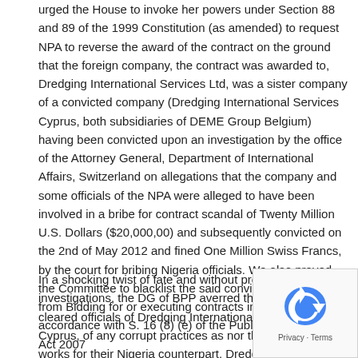urged the House to invoke her powers under Section 88 and 89 of the 1999 Constitution (as amended) to request NPA to reverse the award of the contract on the ground that the foreign company, the contract was awarded to, Dredging International Services Ltd, was a sister company of a convicted company (Dredging International Services Cyprus, both subsidiaries of DEME Group Belgium) having been convicted upon an investigation by the office of the Attorney General, Department of International Affairs, Switzerland on allegations that the company and some officials of the NPA were alleged to have been involved in a bribe for contract scandal of Twenty Million U.S. Dollars ($20,000,00) and subsequently convicted on the 2nd of May 2012 and fined One Million Swiss Francs, by the court for bribing Nigeria officials. We also prayed the Committee to blacklist the said convicted company from Bidding for or executing contracts in Nigeria in accordance with S. 16 (8) (e) of the Public Procurement Act 2007
In a shocking twist of fate and without proper investigations, the DG of BPP averred that NPA has cleared officials of Dredging International Services, Cyprus, of any corrupt practices as none of the Directors works for their Nigeria counterpart, Dredging